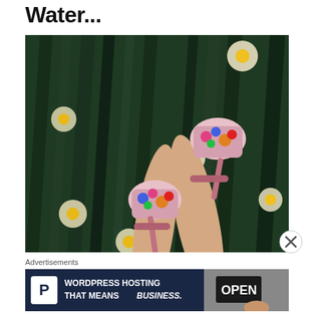Water...
[Figure (photo): Person's legs raised up wearing colorful floral-patterned high heel sandals against a background of green daffodil foliage with white and yellow daffodil flowers]
Advertisements
[Figure (screenshot): Advertisement banner: WordPress Hosting That Means BUSINESS. with Pressable logo (P) on dark navy background and a photo of an OPEN sign on the right side]